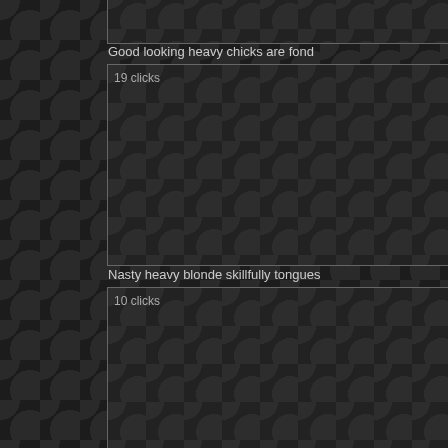[Figure (photo): Dark thumbnail image placeholder at top, partially visible]
Good looking heavy chicks are fond
[Figure (photo): Dark thumbnail image placeholder with '19 clicks' label]
Nasty heavy blonde skillfully tongues
[Figure (photo): Dark thumbnail image placeholder with '10 clicks' label]
Horny fattie is licking and fingering